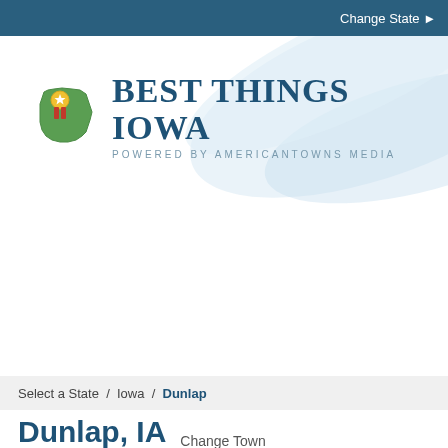Change State ▶
[Figure (logo): Best Things Iowa logo with Iowa state silhouette icon and text 'BEST THINGS IOWA / POWERED BY AMERICANTOWNS MEDIA']
Select a State  /  Iowa  /  Dunlap
Dunlap, IA  Change Town